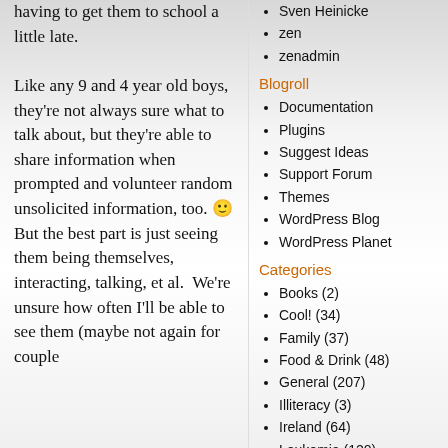having to get them to school a little late.

Like any 9 and 4 year old boys, they're not always sure what to talk about, but they're able to share information when prompted and volunteer random unsolicited information, too. 🙂 But the best part is just seeing them being themselves, interacting, talking, et al.  We're unsure how often I'll be able to see them (maybe not again for couple
Sven Heinicke
zen
zenadmin
Blogroll
Documentation
Plugins
Suggest Ideas
Support Forum
Themes
WordPress Blog
WordPress Planet
Categories
Books (2)
Cool! (34)
Family (37)
Food & Drink (48)
General (207)
Illiteracy (3)
Ireland (64)
Leukemia (120)
Mac (28)
Maine (1)
Media (10)